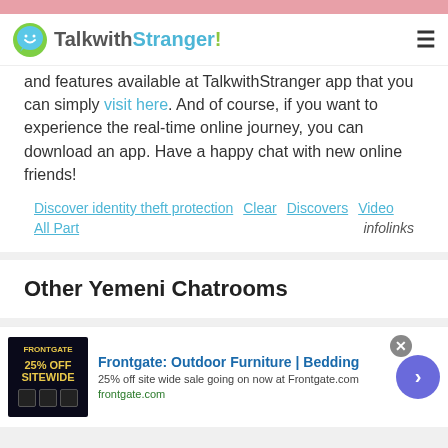[Figure (screenshot): Pink decorative banner at top of page]
TalkwithStranger!
and features available at TalkwithStranger app that you can simply visit here. And of course, if you want to experience the real-time online journey, you can download an app. Have a happy chat with new online friends!
Discover identity theft protection   Clear   Discovers   Video   All Part   infolinks
Other Yemeni Chatrooms
[Figure (screenshot): Frontgate advertisement: Outdoor Furniture | Bedding. 25% off site wide sale going on now at Frontgate.com. frontgate.com]